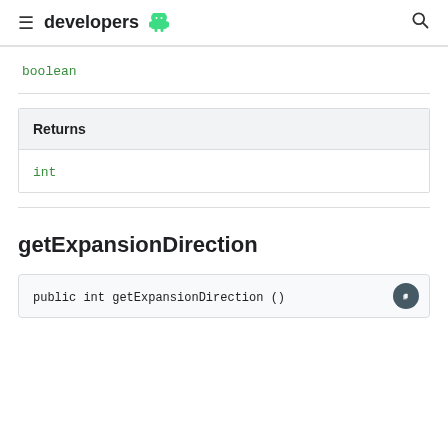developers
boolean
Returns
int
getExpansionDirection
public int getExpansionDirection ()